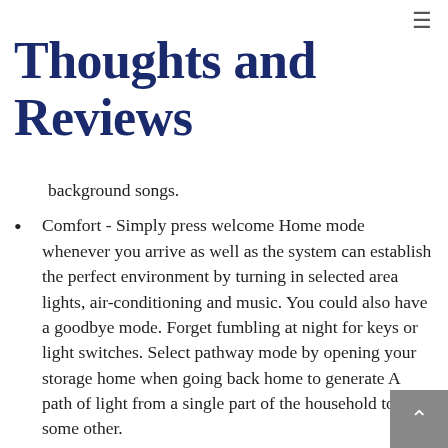≡
Thoughts and Reviews
background songs.
Comfort - Simply press welcome Home mode whenever you arrive as well as the system can establish the perfect environment by turning in selected area lights, air-conditioning and music. You could also have a goodbye mode. Forget fumbling at night for keys or light switches. Select pathway mode by opening your storage home when going back home to generate A path of light from a single part of the household to some other.
Comfort - Forget available your home and switching down all of the lights. Merely click the goodnight switch on the remote (or change next to your bed) and all